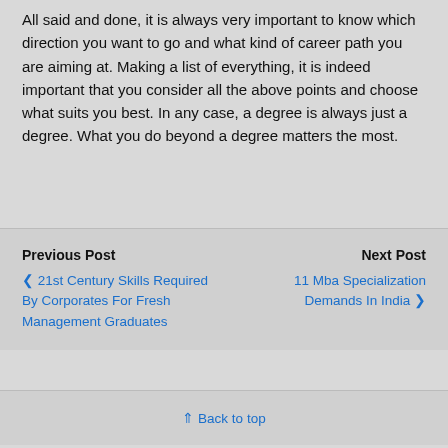All said and done, it is always very important to know which direction you want to go and what kind of career path you are aiming at. Making a list of everything, it is indeed important that you consider all the above points and choose what suits you best. In any case, a degree is always just a degree. What you do beyond a degree matters the most.
Previous Post
Next Post
21st Century Skills Required By Corporates For Fresh Management Graduates
11 Mba Specialization Demands In India
Back to top